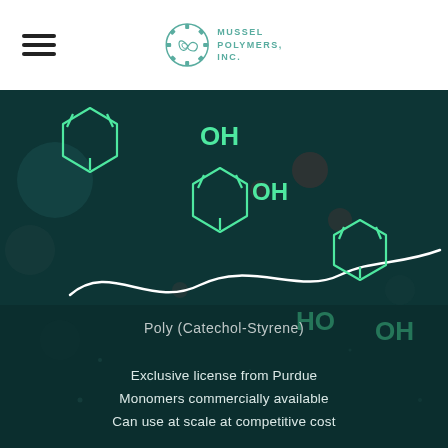[Figure (logo): Mussel Polymers Inc. logo with gear/shell icon in teal and company name text]
[Figure (illustration): Dark teal background with glowing green chemical structure diagrams showing catechol and styrene monomers connected by a white wavy polymer chain. Labels OH, OH, HO, OH in green text on the molecular structures.]
Poly (Catechol-Styrene)
Exclusive license from Purdue
Monomers commercially available
Can use at scale at competitive cost